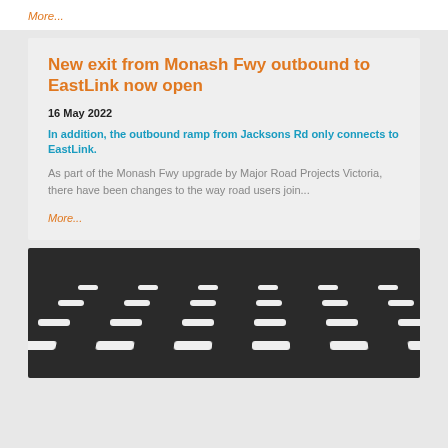More...
New exit from Monash Fwy outbound to EastLink now open
16 May 2022
In addition, the outbound ramp from Jacksons Rd only connects to EastLink.
As part of the Monash Fwy upgrade by Major Road Projects Victoria, there have been changes to the way road users join...
More...
[Figure (photo): Dark aerial or road-level photograph of a multi-lane highway at night or low light, showing dashed white lane markings on a dark asphalt surface.]